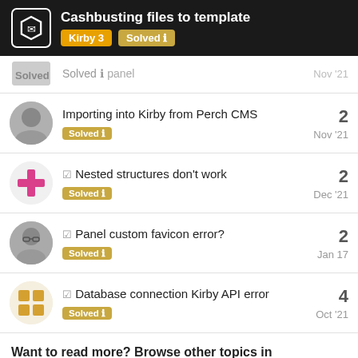Cashbusting files to template — Kirby 3 | Solved
Solved panel — Nov '21 (partial row)
Importing into Kirby from Perch CMS — Solved — Nov '21 — 2 replies
☑ Nested structures don't work — Solved — Dec '21 — 2 replies
☑ Panel custom favicon error? — Solved — Jan 17 — 2 replies
☑ Database connection Kirby API error — Solved — Oct '21 — 4 replies
Want to read more? Browse other topics in Solved 🛈 or view latest topics.